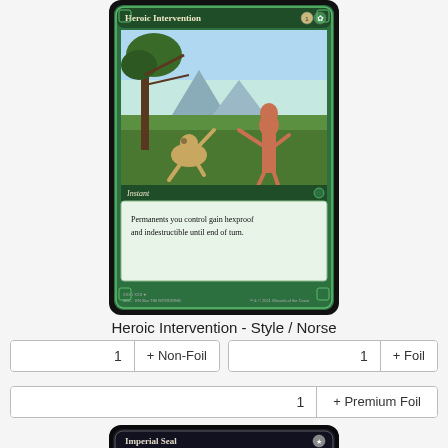[Figure (illustration): Magic: The Gathering card 'Heroic Intervention' with green border. Shows two fantasy creatures in combat near a tree. Card type: Instant. Text reads: 'Permanents you control gain hexproof and indestructible until end of turn.' Mana cost: 1G.]
Heroic Intervention - Style / Norse
| 1 | + Non-Foil | 1 | + Foil |
| 1 | + Premium Foil |
[Figure (illustration): Magic: The Gathering card 'Imperial Seal' with dark/black border. Partially visible at bottom of page.]